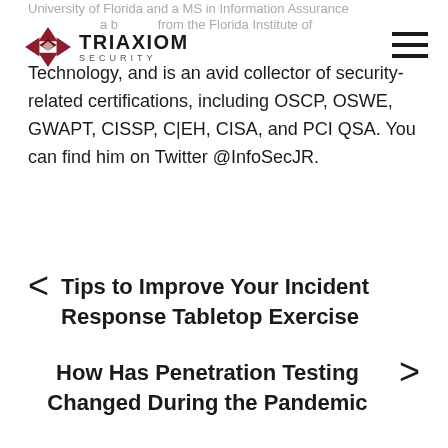University of Florida and a MS in Information Assurance a b from the Florida Institute of Technology, and is an avid collector of security-related certifications, including OSCP, OSWE, GWAPT, CISSP, C|EH, CISA, and PCI QSA. You can find him on Twitter @InfoSecJR.
[Figure (logo): Triaxiom Security logo with red geometric star/diamond shape and text TRIAXIOM SECURITY]
Technology, and is an avid collector of security-related certifications, including OSCP, OSWE, GWAPT, CISSP, C|EH, CISA, and PCI QSA. You can find him on Twitter @InfoSecJR.
Tips to Improve Your Incident Response Tabletop Exercise
How Has Penetration Testing Changed During the Pandemic